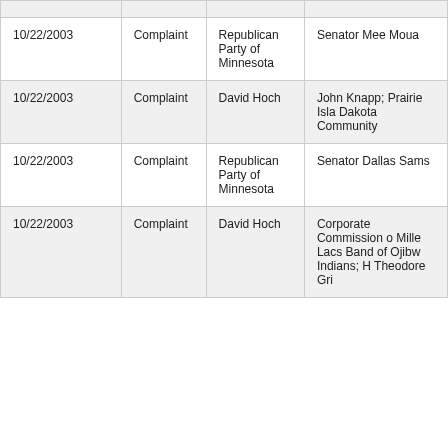| 10/22/2003 | Complaint | Republican Party of Minnesota | Senator Mee Moua |
| 10/22/2003 | Complaint | David Hoch | John Knapp; Prairie Isla Dakota Community |
| 10/22/2003 | Complaint | Republican Party of Minnesota | Senator Dallas Sams |
| 10/22/2003 | Complaint | David Hoch | Corporate Commission o Mille Lacs Band of Ojibw Indians; H Theodore Gri |